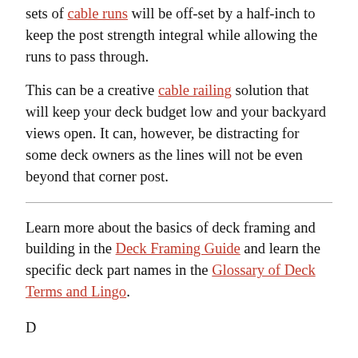sets of cable runs will be off-set by a half-inch to keep the post strength integral while allowing the runs to pass through.
This can be a creative cable railing solution that will keep your deck budget low and your backyard views open. It can, however, be distracting for some deck owners as the lines will not be even beyond that corner post.
Learn more about the basics of deck framing and building in the Deck Framing Guide and learn the specific deck part names in the Glossary of Deck Terms and Lingo.
D...